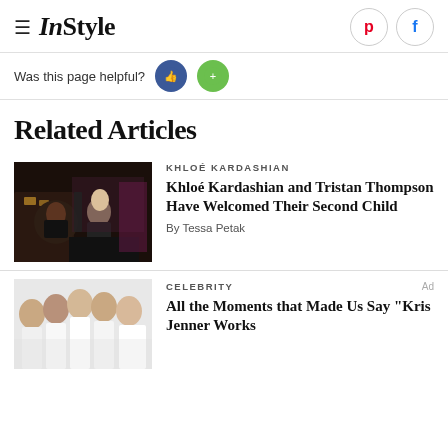InStyle
Was this page helpful?
Related Articles
[Figure (photo): Photo of Khloé Kardashian and Tristan Thompson together at an event]
KHLOÉ KARDASHIAN
Khloé Kardashian and Tristan Thompson Have Welcomed Their Second Child
By Tessa Petak
[Figure (photo): Photo of Kardashian-Jenner family members in white outfits]
CELEBRITY
All the Moments that Made Us Say "Kris Jenner Works